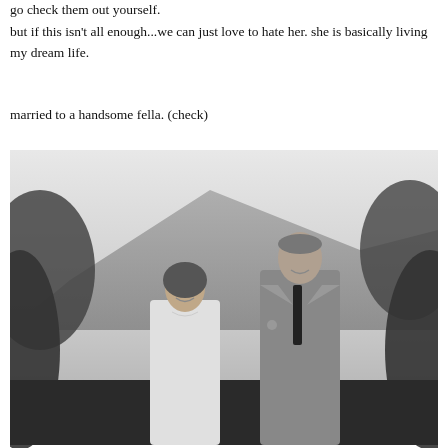go check them out yourself.
but if this isn't all enough...we can just love to hate her. she is basically living my dream life.
married to a handsome fella. (check)
[Figure (photo): Black and white wedding photo of a bride and groom smiling at each other outdoors, with mountains and foliage in the background. The bride is in a white dress and the groom is in a light suit with a dark tie.]